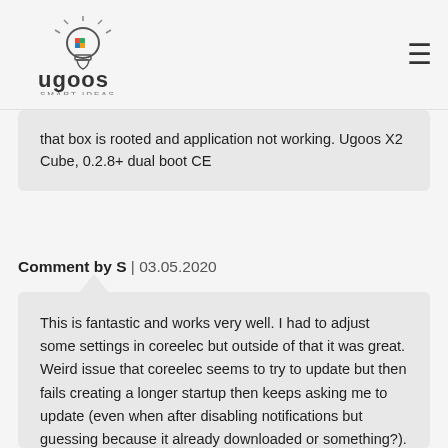UGOOS SMART IDEAS
that box is rooted and application not working. Ugoos X2 Cube, 0.2.8+ dual boot CE
Comment by S | 03.05.2020
This is fantastic and works very well. I had to adjust some settings in coreelec but outside of that it was great. Weird issue that coreelec seems to try to update but then fails creating a longer startup then keeps asking me to update (even when after disabling notifications but guessing because it already downloaded or something?). Would be great if that part could be fixed or removed so I don't get bothered with updates in coreelec then maybe to update it once its out of beta through android instead or something. Many thanks and I hope to see some